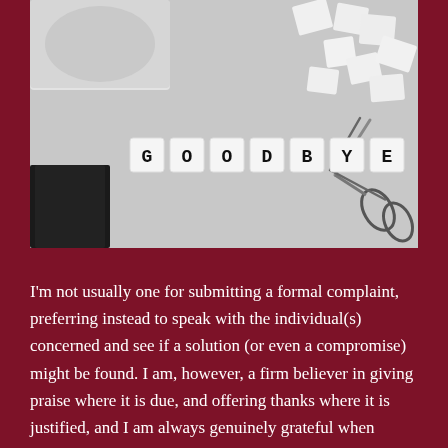[Figure (photo): A grayscale photo showing letter tiles spelling 'GOODBYE' on a light background, with scissors on the right, torn paper pieces in the top right, a notebook at bottom left, and a laptop partially visible at top left.]
I'm not usually one for submitting a formal complaint, preferring instead to speak with the individual(s) concerned and see if a solution (or even a compromise) might be found. I am, however, a firm believer in giving praise where it is due, and offering thanks where it is justified, and I am always genuinely grateful when